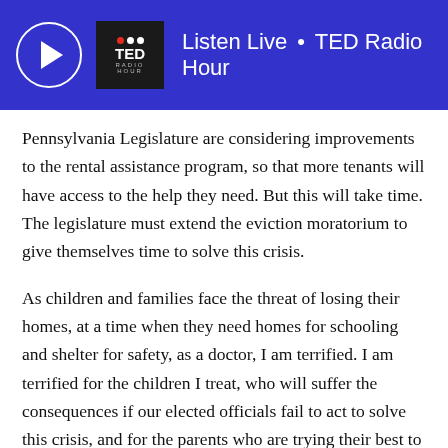Listen Live • TED Radio Hour
Pennsylvania Legislature are considering improvements to the rental assistance program, so that more tenants will have access to the help they need. But this will take time. The legislature must extend the eviction moratorium to give themselves time to solve this crisis.
As children and families face the threat of losing their homes, at a time when they need homes for schooling and shelter for safety, as a doctor, I am terrified. I am terrified for the children I treat, who will suffer the consequences if our elected officials fail to act to solve this crisis, and for the parents who are trying their best to do what is right for their kids in these unprecedented times.
Reinstating the state eviction and foreclosure moratorium